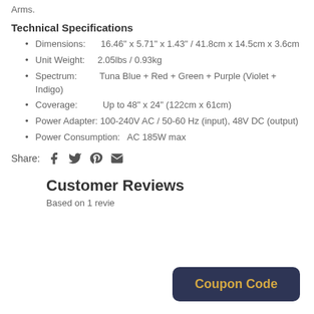Arms.
Technical Specifications
Dimensions:       16.46" x 5.71" x 1.43" / 41.8cm x 14.5cm x 3.6cm
Unit Weight:       2.05lbs / 0.93kg
Spectrum:           Tuna Blue + Red + Green + Purple (Violet + Indigo)
Coverage:            Up to 48" x 24" (122cm x 61cm)
Power Adapter: 100-240V AC / 50-60 Hz (input), 48V DC (output)
Power Consumption:     AC 185W max
Share:
Customer Reviews
Based on 1 revie...
Coupon Code